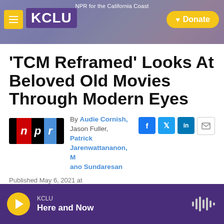KCLU — NPR for the California Coast
'TCM Reframed' Looks At Beloved Old Movies Through Modern Eyes
By Audie Cornish, Jason Fuller, Patrick Jarenwattananon, Mano Sundaresan
Published May 6, 2021 at 1:41 PM PDT
KCLU — Here and Now